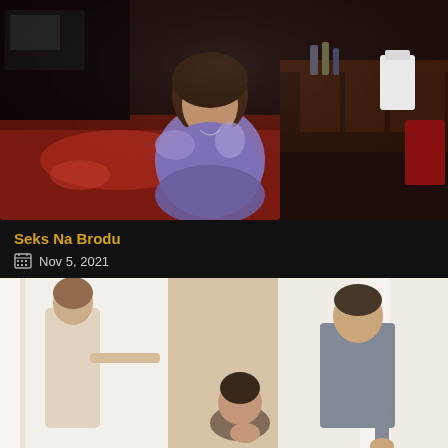[Figure (photo): Thumbnail image of a woman in a purple tank top standing in what appears to be a bar or boat interior with dark wood furniture and counters]
Seks Na Brodu
Nov 5, 2021
[Figure (photo): Thumbnail image showing three people in a hallway or doorway scene - a woman on the left, a person seated in the middle, and a man in a grey t-shirt on the right]